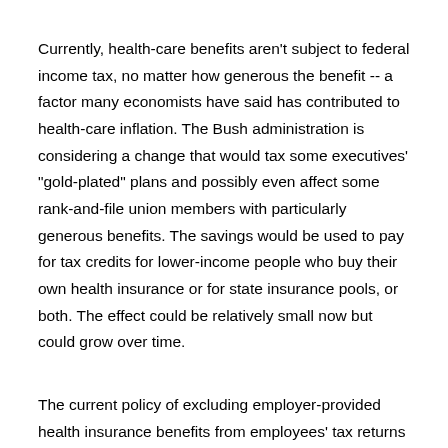Currently, health-care benefits aren't subject to federal income tax, no matter how generous the benefit -- a factor many economists have said has contributed to health-care inflation. The Bush administration is considering a change that would tax some executives' "gold-plated" plans and possibly even affect some rank-and-file union members with particularly generous benefits. The savings would be used to pay for tax credits for lower-income people who buy their own health insurance or for state insurance pools, or both. The effect could be relatively small now but could grow over time.
The current policy of excluding employer-provided health insurance benefits from employees' tax returns costs the government more than any other tax policy -- about $900 billion between 2006 and 2010, counting all health-related breaks. That is more than either the mortgage-interest deduction or the various breaks for retirement savings. Thus, even tinkering around the edges of the exclusion could